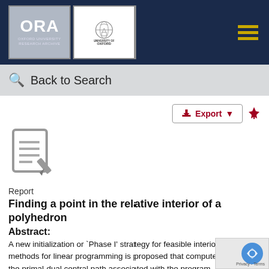[Figure (logo): ORA Oxford University Research Archive logo and University of Oxford crest logo on dark navy header bar with hamburger menu]
Back to Search
[Figure (illustration): Document/report icon with pencil]
Report
Finding a point in the relative interior of a polyhedron
Abstract:
A new initialization or `Phase I' strategy for feasible interior point methods for linear programming is proposed that computes a point on the primal-dual central path associated with the program. Provided there exist primal-dual strictly feasible an all-pervasive assumption in interior point method theory, impling the existence of the central path, the initialization method